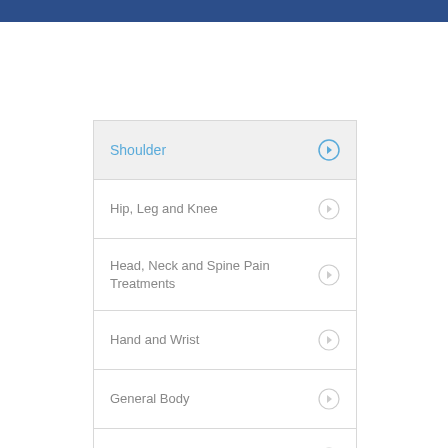Shoulder
Hip, Leg and Knee
Head, Neck and Spine Pain Treatments
Hand and Wrist
General Body
Foot and Ankle